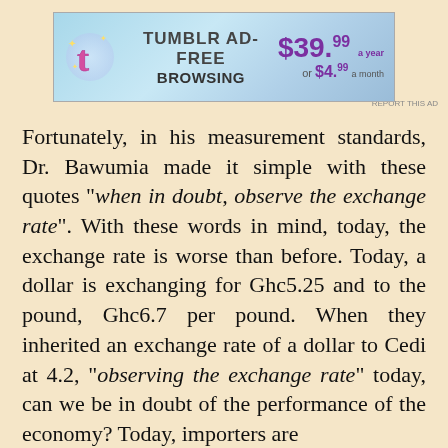[Figure (other): Tumblr Ad-Free Browsing advertisement banner showing price $39.99 a year or $4.99 a month]
Fortunately, in his measurement standards, Dr. Bawumia made it simple with these quotes “when in doubt, observe the exchange rate”. With these words in mind, today, the exchange rate is worse than before. Today, a dollar is exchanging for Ghc5.25 and to the pound, Ghc6.7 per pound. When they inherited an exchange rate of a dollar to Cedi at 4.2, “observing the exchange rate” today, can we be in doubt of the performance of the economy? Today, importers are